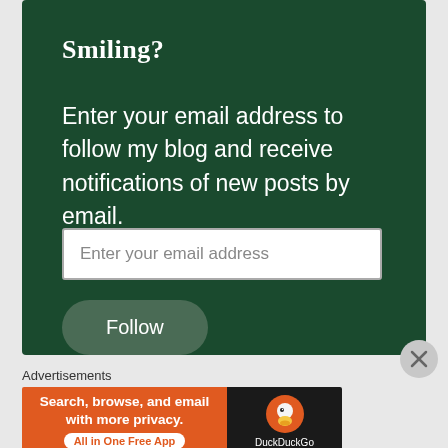Smiling?
Enter your email address to follow my blog and receive notifications of new posts by email.
Enter your email address
Follow
Advertisements
[Figure (infographic): DuckDuckGo advertisement banner: orange left panel reading 'Search, browse, and email with more privacy. All in One Free App' and dark right panel with DuckDuckGo duck logo.]